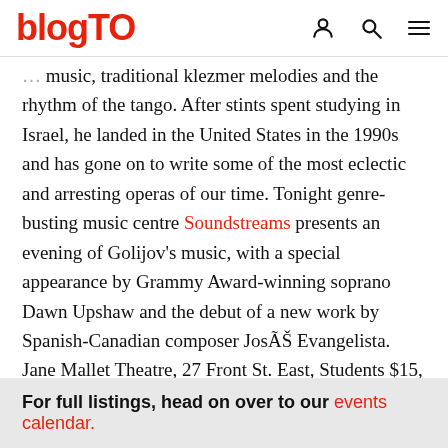blogTO
music, traditional klezmer melodies and the rhythm of the tango. After stints spent studying in Israel, he landed in the United States in the 1990s and has gone on to write some of the most eclectic and arresting operas of our time. Tonight genre-busting music centre Soundstreams presents an evening of Golijov's music, with a special appearance by Grammy Award-winning soprano Dawn Upshaw and the debut of a new work by Spanish-Canadian composer JosÃŠ Evangelista.
Jane Mallet Theatre, 27 Front St. East, Students $15, Seniors $25, Adults $40, 8 pm
For full listings, head on over to our events calendar.